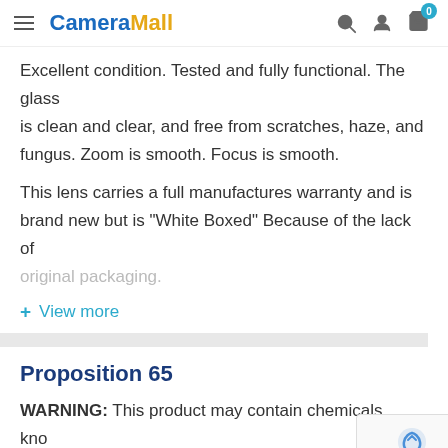CameraMall
Excellent condition. Tested and fully functional. The glass is clean and clear, and free from scratches, haze, and fungus. Zoom is smooth. Focus is smooth.

This lens carries a full manufactures warranty and is brand new but is "White Boxed" Because of the lack of original packaging.
+ View more
Proposition 65
WARNING: This product may contain chemicals known to the State of California to cause cancer and birth